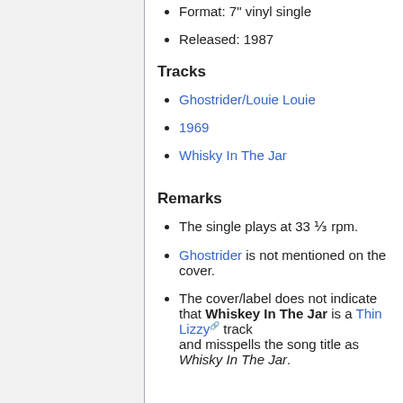Format: 7" vinyl single
Released: 1987
Tracks
Ghostrider/Louie Louie
1969
Whisky In The Jar
Remarks
The single plays at 33 ⅓ rpm.
Ghostrider is not mentioned on the cover.
The cover/label does not indicate that Whiskey In The Jar is a Thin Lizzy track and misspells the song title as Whisky In The Jar.